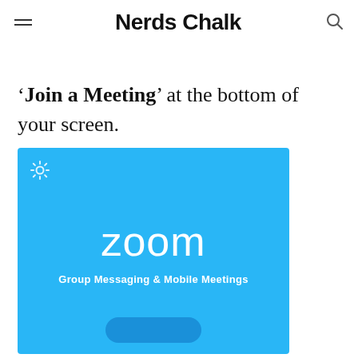Nerds Chalk
'Join a Meeting' at the bottom of your screen.
[Figure (screenshot): Zoom app splash screen showing the Zoom logo and tagline 'Group Messaging & Mobile Meetings' on a blue background, with a gear/settings icon in the top left corner and a partial button at the bottom.]